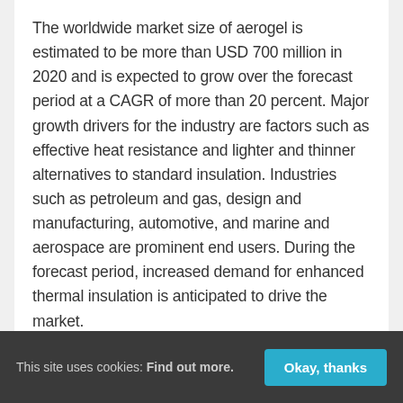The worldwide market size of aerogel is estimated to be more than USD 700 million in 2020 and is expected to grow over the forecast period at a CAGR of more than 20 percent. Major growth drivers for the industry are factors such as effective heat resistance and lighter and thinner alternatives to standard insulation. Industries such as petroleum and gas, design and manufacturing, automotive, and marine and aerospace are prominent end users. During the forecast period, increased demand for enhanced thermal insulation is anticipated to drive the market.
The construction and building industry is anticipated to be one of the market's main end-use
This site uses cookies: Find out more. Okay, thanks